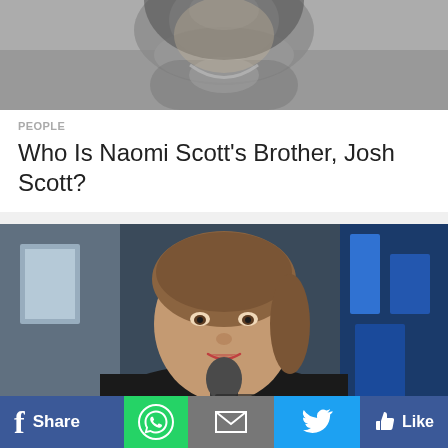[Figure (photo): Black and white photo of a person smiling, partially cropped at top]
PEOPLE
Who Is Naomi Scott's Brother, Josh Scott?
[Figure (photo): Color photo of a woman (Felicity Blunt) at what appears to be a media event, holding a microphone, with blue background]
PEOPLE
Meet Stanley Tucci's Wife, Felicity Blunt
f  Share  [WhatsApp]  [Email]  [Twitter]  Like